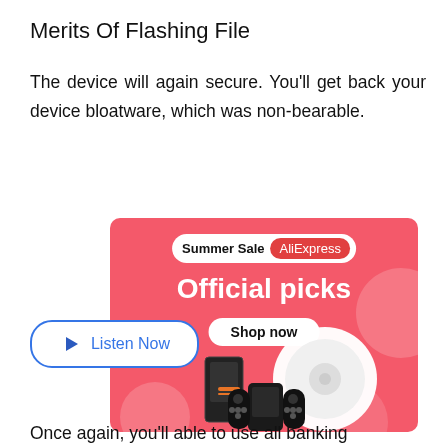Merits Of Flashing File
The device will again secure. You'll get back your device bloatware, which was non-bearable.
[Figure (infographic): AliExpress Summer Sale advertisement banner with pink background, showing 'Summer Sale' badge, 'AliExpress' label in red, 'Official picks' headline in white bold text, 'Shop now' button, and product images including a robot vacuum, gaming console, and Nintendo Switch controller. A 'Listen Now' button with a blue play triangle is overlaid to the left of the ad.]
Once again, you'll able to use all banking